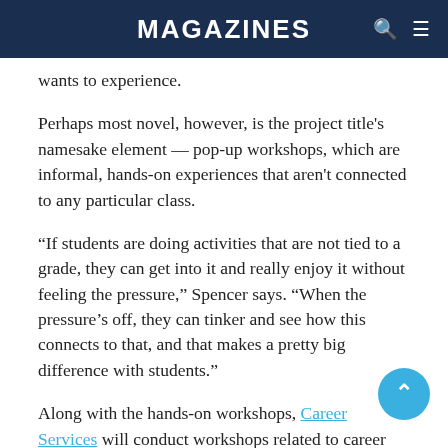MAGAZINES
wants to experience.
Perhaps most novel, however, is the project title's namesake element — pop-up workshops, which are informal, hands-on experiences that aren't connected to any particular class.
“If students are doing activities that are not tied to a grade, they can get into it and really enjoy it without feeling the pressure,” Spencer says. “When the pressure’s off, they can tinker and see how this connects to that, and that makes a pretty big difference with students.”
Along with the hands-on workshops, Career Services will conduct workshops related to career awareness and the development of some of the skills employers expect from their recruits